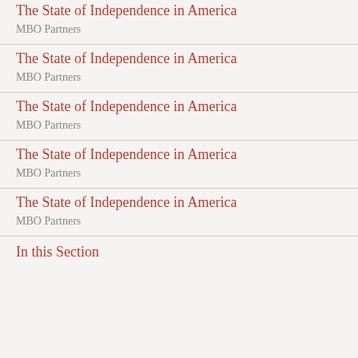The State of Independence in America
MBO Partners
The State of Independence in America
MBO Partners
The State of Independence in America
MBO Partners
The State of Independence in America
MBO Partners
The State of Independence in America
MBO Partners
In this Section